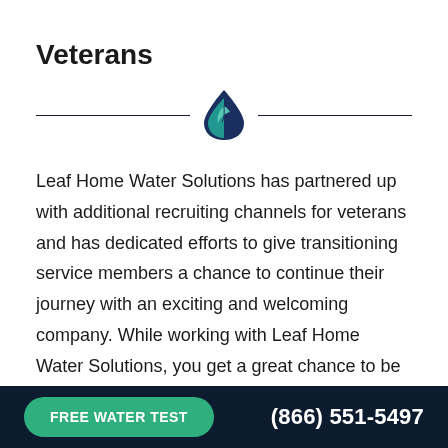Veterans
[Figure (logo): Leaf Home Water Solutions logo: a water droplet shape in dark navy and teal/green colors with a leaf inside, used as a section divider]
Leaf Home Water Solutions has partnered up with additional recruiting channels for veterans and has dedicated efforts to give transitioning service members a chance to continue their journey with an exciting and welcoming company. While working with Leaf Home Water Solutions, you get a great chance to be a professional and enhance your education or credentials whether you are using your G.I. Bill or using one
FREE WATER TEST   (866) 551-5497